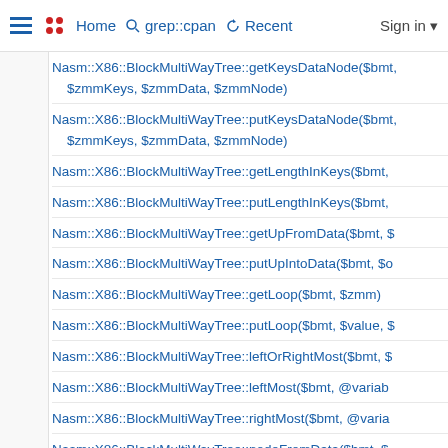≡  •• Home  🔍 grep::cpan  ↺ Recent  Sign in ▾
Nasm::X86::BlockMultiWayTree::getKeysDataNode($bmt, $zmmKeys, $zmmData, $zmmNode)
Nasm::X86::BlockMultiWayTree::putKeysDataNode($bmt, $zmmKeys, $zmmData, $zmmNode)
Nasm::X86::BlockMultiWayTree::getLengthInKeys($bmt,
Nasm::X86::BlockMultiWayTree::putLengthInKeys($bmt,
Nasm::X86::BlockMultiWayTree::getUpFromData($bmt, $
Nasm::X86::BlockMultiWayTree::putUpIntoData($bmt, $o
Nasm::X86::BlockMultiWayTree::getLoop($bmt, $zmm)
Nasm::X86::BlockMultiWayTree::putLoop($bmt, $value, $
Nasm::X86::BlockMultiWayTree::leftOrRightMost($bmt, $
Nasm::X86::BlockMultiWayTree::leftMost($bmt, @variab
Nasm::X86::BlockMultiWayTree::rightMost($bmt, @varia
Nasm::X86::BlockMultiWayTree::nodeFromData($bmt, $
Nasm::X86::BlockMultiWayTree::address($bmt)
Nasm::X86::BlockMultiWayTree::allocBlock($bmt, @vari
Nasm::X86::BlockMultiWayTree::depth($bmt, @variables